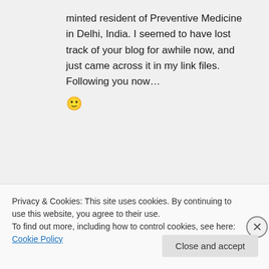minted resident of Preventive Medicine in Delhi, India. I seemed to have lost track of your blog for awhile now, and just came across it in my link files. Following you now… 🙂
annaojesus on July 18, 2012 at 11:16 pm
Privacy & Cookies: This site uses cookies. By continuing to use this website, you agree to their use.
To find out more, including how to control cookies, see here: Cookie Policy